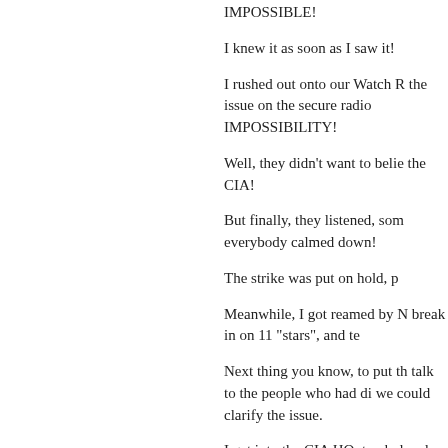IMPOSSIBLE!
I knew it as soon as I saw it!
I rushed out onto our Watch R the issue on the secure radio IMPOSSIBILITY!
Well, they didn't want to belie the CIA!
But finally, they listened, som everybody calmed down!
The strike was put on hold, p
Meanwhile, I got reamed by N break in on 11 "stars", and te
Next thing you know, to put th talk to the people who had di we could clarify the issue.
I get into the CIA HQ, track d and say basically: Hey what g were 72hrs from starting a sh because of it!